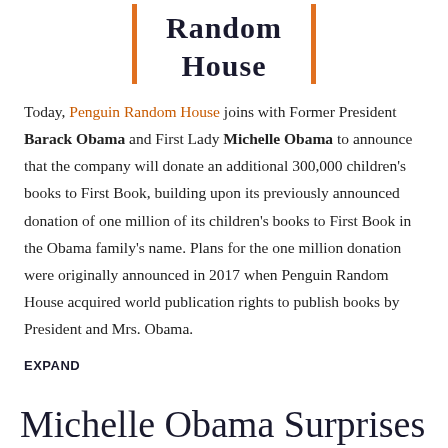[Figure (logo): Penguin Random House logo with orange vertical bar dividers and serif text 'Random House']
Today, Penguin Random House joins with Former President Barack Obama and First Lady Michelle Obama to announce that the company will donate an additional 300,000 children's books to First Book, building upon its previously announced donation of one million of its children's books to First Book in the Obama family's name. Plans for the one million donation were originally announced in 2017 when Penguin Random House acquired world publication rights to publish books by President and Mrs. Obama.
EXPAND
Michelle Obama Surprises